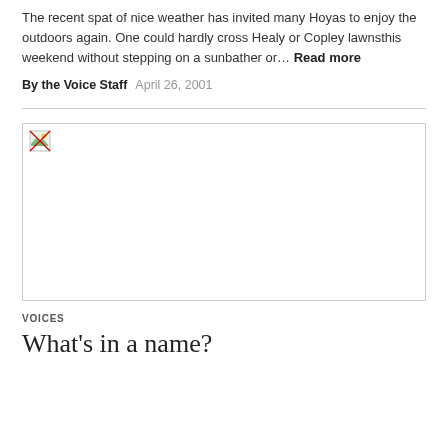The recent spat of nice weather has invited many Hoyas to enjoy the outdoors again. One could hardly cross Healy or Copley lawnsthis weekend without stepping on a sunbather or… Read more
By the Voice Staff   April 26, 2001
[Figure (photo): Broken/unavailable image placeholder with small broken image icon in top-left corner]
VOICES
What's in a name?